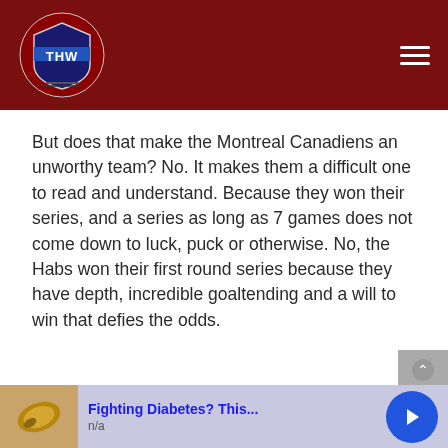THW - The Hockey Writers
But does that make the Montreal Canadiens an unworthy team? No. It makes them a difficult one to read and understand. Because they won their series, and a series as long as 7 games does not come down to luck, puck or otherwise. No, the Habs won their first round series because they have depth, incredible goaltending and a will to win that defies the odds.
[Figure (screenshot): Advertisement banner for 'Fighting Diabetes? This...' with cashew nut image and blue arrow button, subtitle n/a]